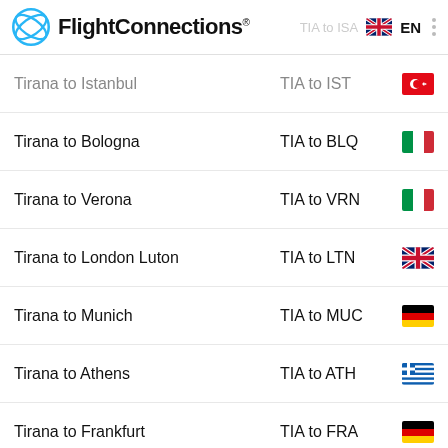FlightConnections® — TIA to ISA — EN
Tirana to Istanbul — TIA to IST
Tirana to Bologna — TIA to BLQ
Tirana to Verona — TIA to VRN
Tirana to London Luton — TIA to LTN
Tirana to Munich — TIA to MUC
Tirana to Athens — TIA to ATH
Tirana to Frankfurt — TIA to FRA
Round trip  1 passenger  Economy
Check Prices